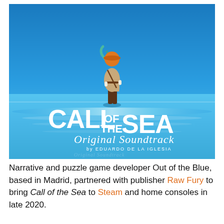[Figure (illustration): Album cover art for 'Call of the Sea Original Soundtrack by Eduardo de la Iglesia'. A stylized illustration showing a woman in a tan coat, orange hat, and teal scarf standing on a reflective blue surface, viewed from behind. Large white text reads 'CALL OF THE SEA' with 'OF THE' smaller between 'CALL' and 'SEA'. Below in cursive: 'Original Soundtrack' and beneath that 'by EDUARDO DE LA IGLESIA'.]
Narrative and puzzle game developer Out of the Blue, based in Madrid, partnered with publisher Raw Fury to bring Call of the Sea to Steam and home consoles in late 2020.